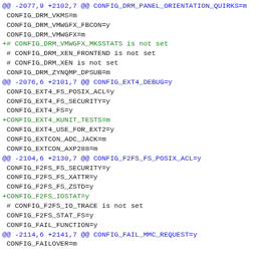@@ -2077,9 +2102,7 @@ CONFIG_DRM_PANEL_ORIENTATION_QUIRKS=m
 CONFIG_DRM_VKMS=m
 CONFIG_DRM_VMWGFX_FBCON=y
 CONFIG_DRM_VMWGFX=m
+# CONFIG_DRM_VMWGFX_MKSSTATS is not set
 # CONFIG_DRM_XEN_FRONTEND is not set
 # CONFIG_DRM_XEN is not set
 CONFIG_DRM_ZYNQMP_DPSUB=m
@@ -2076,6 +2101,7 @@ CONFIG_EXT4_DEBUG=y
 CONFIG_EXT4_FS_POSIX_ACL=y
 CONFIG_EXT4_FS_SECURITY=y
 CONFIG_EXT4_FS=y
+CONFIG_EXT4_KUNIT_TESTS=m
 CONFIG_EXT4_USE_FOR_EXT2=y
 CONFIG_EXTCON_ADC_JACK=m
 CONFIG_EXTCON_AXP288=m
@@ -2104,6 +2130,7 @@ CONFIG_F2FS_FS_POSIX_ACL=y
 CONFIG_F2FS_FS_SECURITY=y
 CONFIG_F2FS_FS_XATTR=y
 CONFIG_F2FS_FS_ZSTD=y
+CONFIG_F2FS_IOSTAT=y
 # CONFIG_F2FS_IO_TRACE is not set
 CONFIG_F2FS_STAT_FS=y
 CONFIG_FAIL_FUNCTION=y
@@ -2114,6 +2141,7 @@ CONFIG_FAIL_MMC_REQUEST=y
 CONFIG_FAILOVER=m